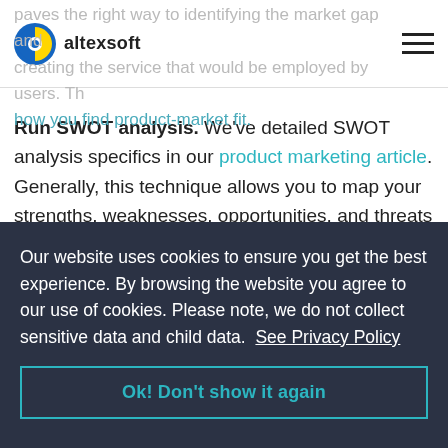paves the right way to identifying the market gap and creating the service that would be employed by users. That's how you find product-market fit.
Run SWOT analysis. We've detailed SWOT analysis specifics in our product marketing article. Generally, this technique allows you to map your strengths, weaknesses, opportunities, and threats to prioritize the direction of further development and define how you stack up against competitors.
Our website uses cookies to ensure you get the best experience. By browsing the website you agree to our use of cookies. Please note, we do not collect sensitive data and child data. See Privacy Policy
Ok! Don't show it again